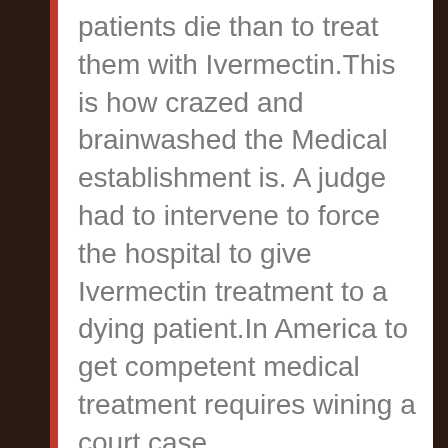patients die than to treat them with Ivermectin.This is how crazed and brainwashed the Medical establishment is. A judge had to intervene to force the hospital to give Ivermectin treatment to a dying patient.In America to get competent medical treatment requires wining a court case.
The corrupt public health authorities protecting Big Pharma profits use the excuse that people desperate for Ivermectin but unable to get Ivermectin for humans are